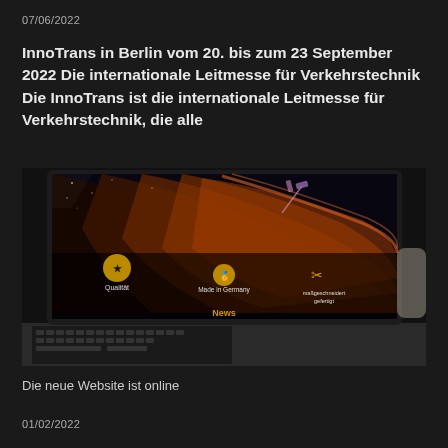07/06/2022
InnoTrans in Berlin vom 20. bis zum 23 September 2022 Die internationale Leitmesse für Verkehrstechnik Die InnoTrans ist die internationale Leitmesse für Verkehrstechnik, die alle
[Figure (photo): Laptop computer displaying a dark website with colorful abstract background (orange/red tones) showing icons for Qualität, Made in Germany, maßgeschneidert gefertigt, and a News section]
Die neue Website ist online
01/02/2022